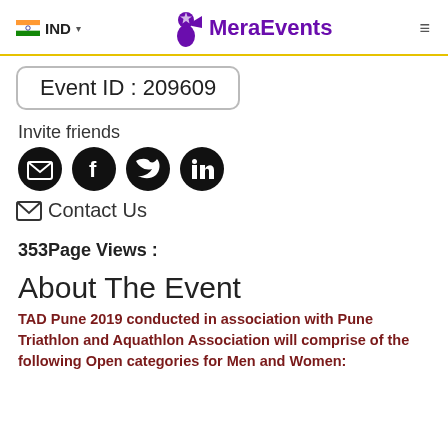IND  MeraEvents
Event ID : 209609
Invite friends
[Figure (infographic): Four social sharing icons: email envelope, Facebook, Twitter, LinkedIn — all dark circular buttons]
Contact Us
353Page Views :
About The Event
TAD Pune 2019 conducted in association with Pune Triathlon and Aquathlon Association will comprise of the following Open categories for Men and Women: